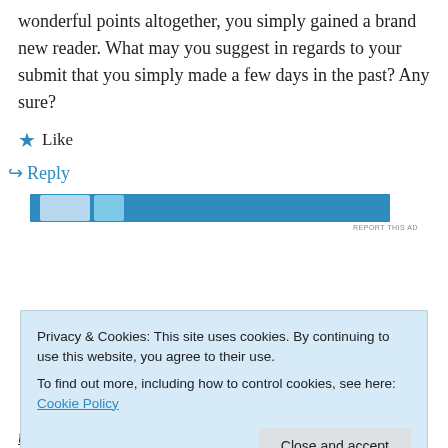wonderful points altogether, you simply gained a brand new reader. What may you suggest in regards to your submit that you simply made a few days in the past? Any sure?
★ Like
↪ Reply
[Figure (other): Blue advertisement banner with light blue graphic element and 'REPORT THIS AD' text]
Privacy & Cookies: This site uses cookies. By continuing to use this website, you agree to their use.
To find out more, including how to control cookies, see here: Cookie Policy
Close and accept
unlimited gold,